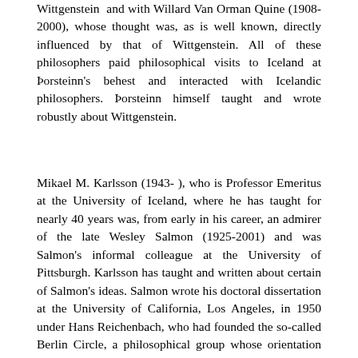Wittgenstein and with Willard Van Orman Quine (1908-2000), whose thought was, as is well known, directly influenced by that of Wittgenstein. All of these philosophers paid philosophical visits to Iceland at Þorsteinn's behest and interacted with Icelandic philosophers. Þorsteinn himself taught and wrote robustly about Wittgenstein.
Mikael M. Karlsson (1943- ), who is Professor Emeritus at the University of Iceland, where he has taught for nearly 40 years was, from early in his career, an admirer of the late Wesley Salmon (1925-2001) and was Salmon's informal colleague at the University of Pittsburgh. Karlsson has taught and written about certain of Salmon's ideas. Salmon wrote his doctoral dissertation at the University of California, Los Angeles, in 1950 under Hans Reichenbach, who had founded the so-called Berlin Circle, a philosophical group whose orientation was similar to that of its Austrian counterpart; and, in many respects, Salmon continued and developed the work of Reichenbach. This is perhaps a weak, and rather indirect